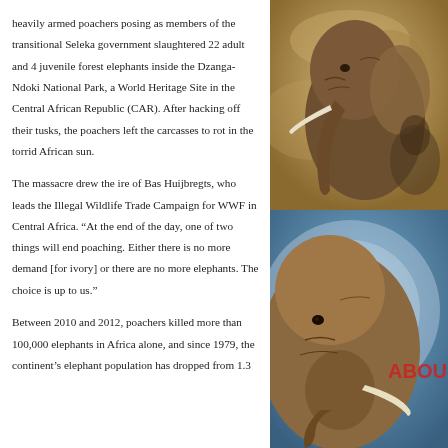heavily armed poachers posing as members of the transitional Seleka government slaughtered 22 adult and 4 juvenile forest elephants inside the Dzanga-Ndoki National Park, a World Heritage Site in the Central African Republic (CAR). After hacking off their tusks, the poachers left the carcasses to rot in the torrid African sun.

The massacre drew the ire of Bas Huijbregts, who leads the Illegal Wildlife Trade Campaign for WWF in Central Africa. “At the end of the day, one of two things will end poaching. Either there is no more demand [for ivory] or there are no more elephants. The choice is up to us.”

Between 2010 and 2012, poachers killed more than 100,000 elephants in Africa alone, and since 1979, the continent’s elephant population has dropped from 1.3
[Figure (photo): Close-up painting or artwork of an elephant, warm earthy tones of brown, tan and gold, showing the elephant's head, trunk and tusks in textured brushwork]
[Figure (photo): Close-up painting or artwork of an elephant's head, showing the face and tusk up close, with blue and brown tones, with red text 'ABOU' partially visible]